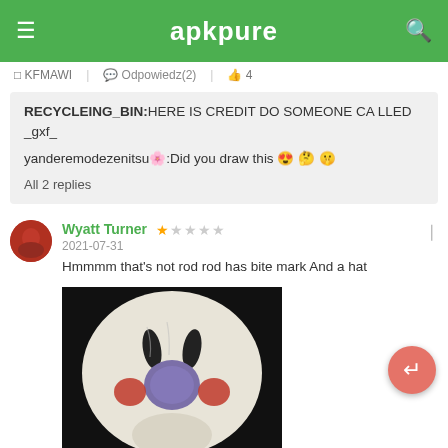apkpure
KFMAWI | Odpowiedz(2) | 4
RECYCLEING_BIN:HERE IS CREDIT DO SOMEONE CALLED _gxf_
yanderemodezenitsu🌸:Did you draw this 😍 🤔 🤫
All 2 replies
Wyatt Turner
2021-07-31
Hmmmm that's not rod rod has bite mark And a hat
[Figure (photo): Close-up photo of a clay or plush character face with a large purple/blue round nose, red cheeks, dark oval eyes, white face on black background]
KFMAWI | Odpowiedz | 1
moregameplayz